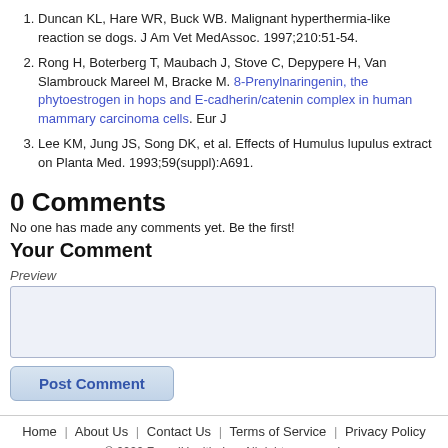Duncan KL, Hare WR, Buck WB. Malignant hyperthermia-like reaction se dogs. J Am Vet MedAssoc. 1997;210:51-54.
Rong H, Boterberg T, Maubach J, Stove C, Depypere H, Van Slambrouck Mareel M, Bracke M. 8-Prenylnaringenin, the phytoestrogen in hops and E-cadherin/catenin complex in human mammary carcinoma cells. Eur J
Lee KM, Jung JS, Song DK, et al. Effects of Humulus lupulus extract on Planta Med. 1993;59(suppl):A691.
0 Comments
No one has made any comments yet. Be the first!
Your Comment
Preview
Home | About Us | Contact Us | Terms of Service | Privacy Policy
© 2022 FoundHealth, Inc. All rights reserved.
FoundHealth does not provide medical advice, diagnosis, or treatment.